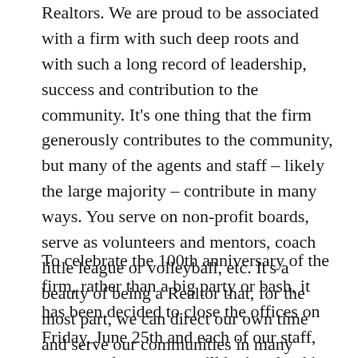Realtors. We are proud to be associated with a firm with such deep roots and with such a long record of leadership, success and contribution to the community. It's one thing that the firm generously contributes to the community, but many of the agents and staff – likely the large majority – contribute in many ways. You serve on non-profit boards, serve as volunteers and mentors, coach little league or volleyball, etc. It's a beauty of being a Realtor that, for the most part, we can direct our own time and serve our communities in many positive ways.
To celebrate the 100th anniversary of the firm, rather than a big party or bash, it has been decided to close the offices on Friday, June 25th and each of our staff, agents and managers will be involved in a community service day. We may all do one project